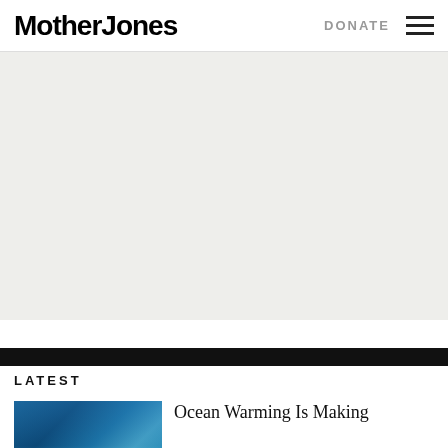Mother Jones | DONATE
[Figure (other): Large advertisement placeholder area with light gray background]
LATEST
[Figure (photo): Ocean waves photo, blue water]
Ocean Warming Is Making